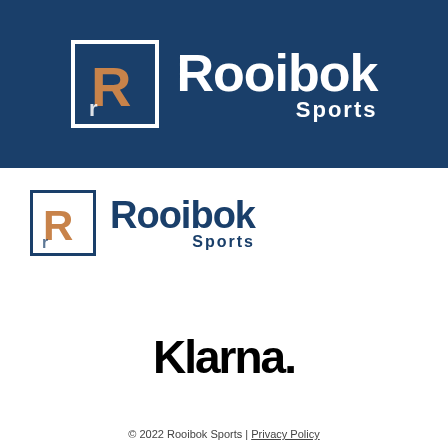[Figure (logo): Rooibok Sports logo on dark blue background. Shows a square icon with R lettermark in copper/orange and white, next to bold white text 'Rooibok' with 'Sports' beneath in smaller white text.]
[Figure (logo): Rooibok Sports logo on white background. Shows a square icon with R lettermark in copper/orange and dark blue border, next to bold dark blue text 'Rooibok' with 'Sports' beneath.]
[Figure (logo): Klarna wordmark in black bold text 'Klarna.' on white background.]
© 2022 Rooibok Sports | Privacy Policy